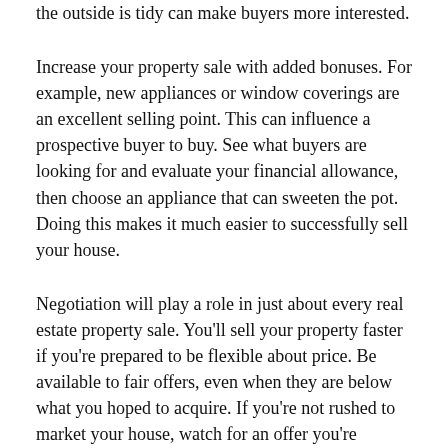the outside is tidy can make buyers more interested.
Increase your property sale with added bonuses. For example, new appliances or window coverings are an excellent selling point. This can influence a prospective buyer to buy. See what buyers are looking for and evaluate your financial allowance, then choose an appliance that can sweeten the pot. Doing this makes it much easier to successfully sell your house.
Negotiation will play a role in just about every real estate property sale. You'll sell your property faster if you're prepared to be flexible about price. Be available to fair offers, even when they are below what you hoped to acquire. If you're not rushed to market your house, watch for an offer you're comfortable with.